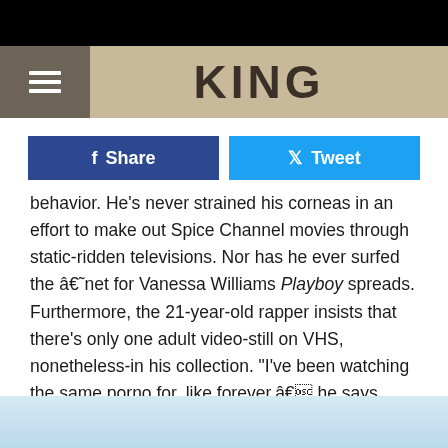KING
Share
Tweet
behavior. He's never strained his corneas in an effort to make out Spice Channel movies through static-ridden televisions. Nor has he ever surfed the â€˜net for Vanessa Williams Playboy spreads. Furthermore, the 21-year-old rapper insists that there's only one adult video-still on VHS, nonetheless-in his collection. "I've been watching the same porno for, like forever,â€ he says, shrugging his shoulders. "It looks like it was shot in the 1960s.â€
[Figure (photo): Partial view of a photo at the bottom of the page, light blue background visible]